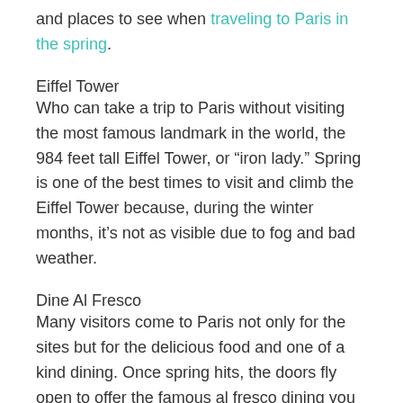and places to see when traveling to Paris in the spring.
Eiffel Tower
Who can take a trip to Paris without visiting the most famous landmark in the world, the 984 feet tall Eiffel Tower, or “iron lady.” Spring is one of the best times to visit and climb the Eiffel Tower because, during the winter months, it’s not as visible due to fog and bad weather.
Dine Al Fresco
Many visitors come to Paris not only for the sites but for the delicious food and one of a kind dining. Once spring hits, the doors fly open to offer the famous al fresco dining you find in Paris.
Street Performers
Street entertainment and performers take to their spots in the city once spring arrives. It’s a great site...